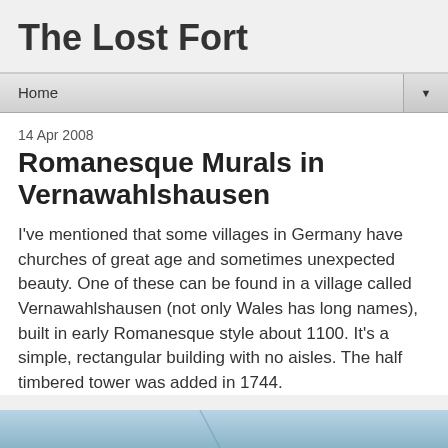The Lost Fort
Home
14 Apr 2008
Romanesque Murals in Vernawahlshausen
I've mentioned that some villages in Germany have churches of great age and sometimes unexpected beauty. One of these can be found in a village called Vernawahlshausen (not only Wales has long names), built in early Romanesque style about 1100. It's a simple, rectangular building with no aisles. The half timbered tower was added in 1744.
[Figure (photo): Partial view of a photograph showing what appears to be a church or building exterior, partially cut off at bottom of page]